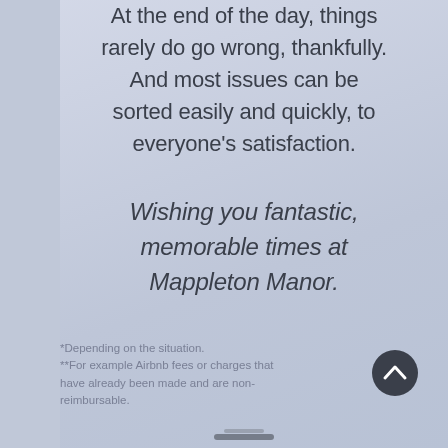At the end of the day, things rarely do go wrong, thankfully. And most issues can be sorted easily and quickly, to everyone's satisfaction.
Wishing you fantastic, memorable times at Mappleton Manor.
*Depending on the situation.
**For example Airbnb fees or charges that have already been made and are non-reimbursable.